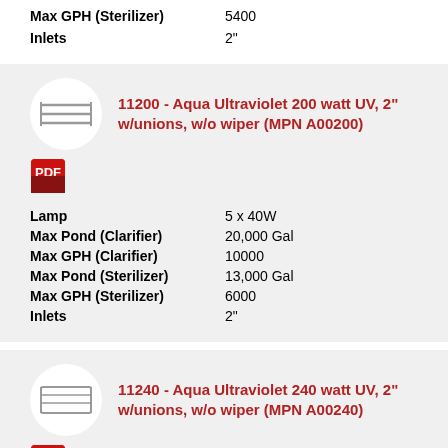| Max GPH (Sterilizer) | 5400 |
| Inlets | 2" |
11200 - Aqua Ultraviolet 200 watt UV, 2" w/unions, w/o wiper (MPN A00200)
| Lamp | 5 x 40W |
| Max Pond (Clarifier) | 20,000 Gal |
| Max GPH (Clarifier) | 10000 |
| Max Pond (Sterilizer) | 13,000 Gal |
| Max GPH (Sterilizer) | 6000 |
| Inlets | 2" |
11240 - Aqua Ultraviolet 240 watt UV, 2" w/unions, w/o wiper (MPN A00240)